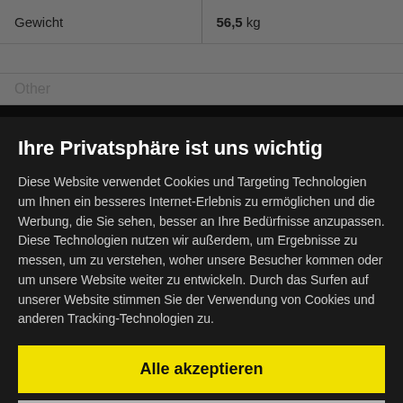| Gewicht | 56,5 kg |
| --- | --- |
Other
Basis-Fanrate   25%
Basis-Fluchtrate   7%
Buddy walk distance   5 km
Schnelle Attacke   Schaden   EPS   Schaden pro Sekunde
Psychoklinge   5   13.3   10
Konfusion   ...   ...4   15
Ihre Privatsphäre ist uns wichtig
Diese Website verwendet Cookies und Targeting Technologien um Ihnen ein besseres Internet-Erlebnis zu ermöglichen und die Werbung, die Sie sehen, besser an Ihre Bedürfnisse anzupassen. Diese Technologien nutzen wir außerdem, um Ergebnisse zu messen, um zu verstehen, woher unsere Besucher kommen oder um unsere Website weiter zu entwickeln. Durch das Surfen auf unserer Website stimmen Sie der Verwendung von Cookies und anderen Tracking-Technologien zu.
Alle akzeptieren
Einstellungen ändern